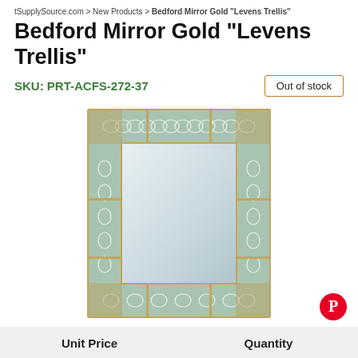tSupplySource.com > New Products > Bedford Mirror Gold "Levens Trellis"
Bedford Mirror Gold "Levens Trellis"
SKU: PRT-ACFS-272-37
Out of stock
[Figure (photo): Bedford Mirror with gold frame featuring green and white trellis pattern inlay, rectangular shape with decorative ornamental panels on all four sides surrounding a rectangular mirror surface.]
| Unit Price | Quantity |
| --- | --- |